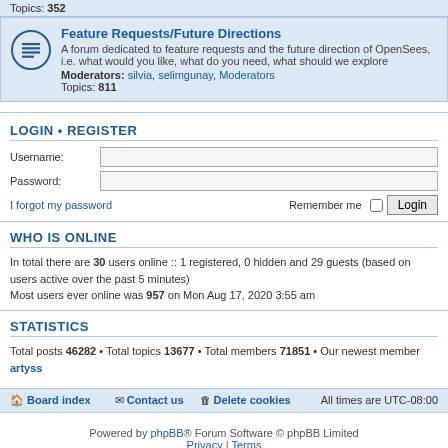Topics: 352
Feature Requests/Future Directions
A forum dedicated to feature requests and the future direction of OpenSees, i.e. what would you like, what do you need, what should we explore
Moderators: silvia, selimgunay, Moderators
Topics: 811
LOGIN • REGISTER
Username:
Password:
I forgot my password
Remember me  Login
WHO IS ONLINE
In total there are 30 users online :: 1 registered, 0 hidden and 29 guests (based on users active over the past 5 minutes)
Most users ever online was 957 on Mon Aug 17, 2020 3:55 am
STATISTICS
Total posts 46282 • Total topics 13677 • Total members 71851 • Our newest member artyss
Board index  Contact us  Delete cookies  All times are UTC-08:00
Powered by phpBB® Forum Software © phpBB Limited
Privacy | Terms